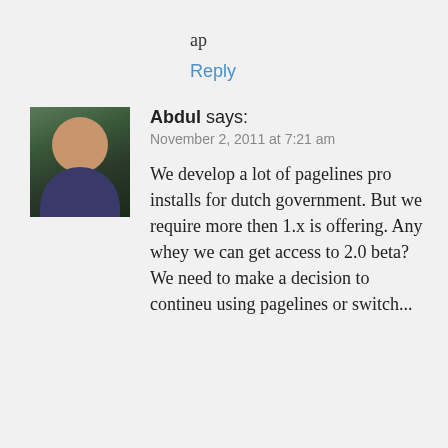ap
Reply
[Figure (photo): Avatar photo of Abdul, a young man with beard, outdoors with green background]
Abdul says:
November 2, 2011 at 7:21 am
We develop a lot of pagelines pro installs for dutch government. But we require more then 1.x is offering. Any whey we can get access to 2.0 beta? We need to make a decision to contineu using pagelines or switch...